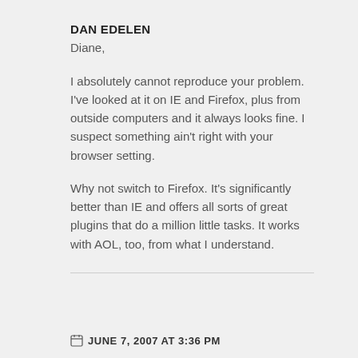DAN EDELEN
Diane,
I absolutely cannot reproduce your problem. I've looked at it on IE and Firefox, plus from outside computers and it always looks fine. I suspect something ain't right with your browser setting.
Why not switch to Firefox. It's significantly better than IE and offers all sorts of great plugins that do a million little tasks. It works with AOL, too, from what I understand.
JUNE 7, 2007 AT 3:36 PM